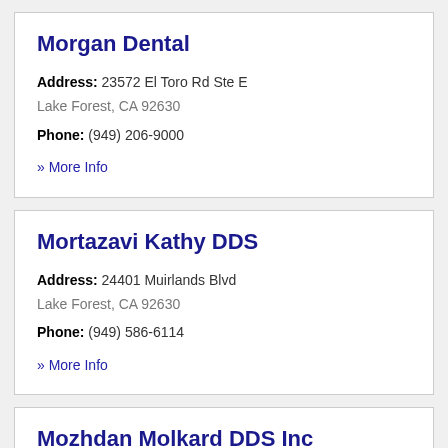Morgan Dental
Address: 23572 El Toro Rd Ste E
Lake Forest, CA 92630
Phone: (949) 206-9000
» More Info
Mortazavi Kathy DDS
Address: 24401 Muirlands Blvd
Lake Forest, CA 92630
Phone: (949) 586-6114
» More Info
Mozhdan Molkard DDS Inc